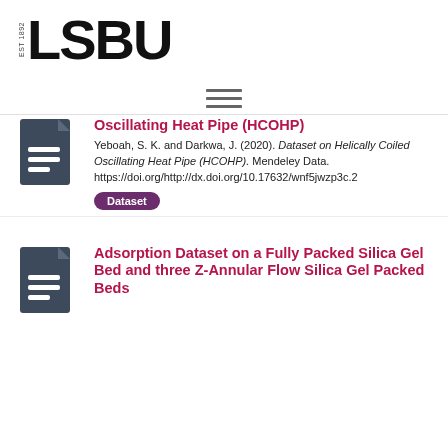[Figure (logo): LSBU logo with EST 1892 text]
[Figure (other): Hamburger menu icon (three horizontal lines)]
Dataset on Helically Coiled Oscillating Heat Pipe (HCOHP)
Yeboah, S. K. and Darkwa, J. (2020). Dataset on Helically Coiled Oscillating Heat Pipe (HCOHP). Mendeley Data. https://doi.org/http://dx.doi.org/10.17632/wnf5jwzp3c.2
Dataset
Adsorption Dataset on a Fully Packed Silica Gel Bed and three Z-Annular Flow Silica Gel Packed Beds